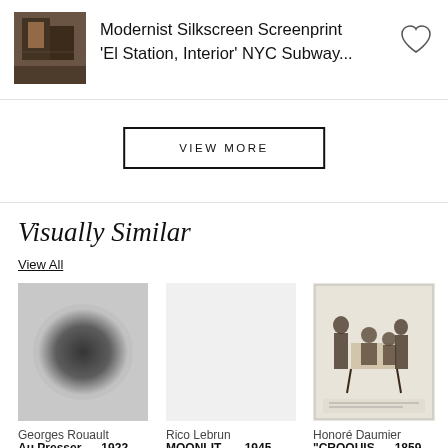[Figure (photo): Small thumbnail photo of an interior scene, brownish-dark tones]
Modernist Silkscreen Screenprint 'El Station, Interior' NYC Subway...
VIEW MORE
Visually Similar
View All
[Figure (photo): Blurred abstract image with dark central shadow on gray background - Georges Rouault style]
[Figure (photo): Blank/white placeholder for Rico Lebrun artwork]
[Figure (photo): Honoré Daumier print showing several figures around a table, black and white etching/lithograph]
Georges Rouault
Au Presser ..., 1922
Rico Lebrun
MOONLIT ... , 1945
Honoré Daumier
"CROQUIS ..., 1859
P
Le